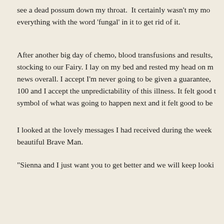see a dead possum down my throat.  It certainly wasn't my mo everything with the word 'fungal' in it to get rid of it.
After another big day of chemo, blood transfusions and results, stocking to our Fairy. I lay on my bed and rested my head on m news overall. I accept I'm never going to be given a guarantee, 100 and I accept the unpredictability of this illness. It felt good t symbol of what was going to happen next and it felt good to be
I looked at the lovely messages I had received during the week beautiful Brave Man.
"Sienna and I just want you to get better and we will keep looki